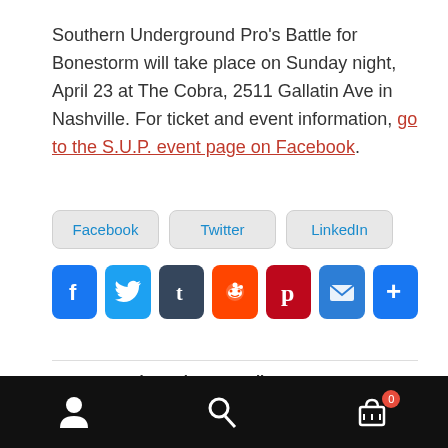Southern Underground Pro's Battle for Bonestorm will take place on Sunday night, April 23 at The Cobra, 2511 Gallatin Ave in Nashville. For ticket and event information, go to the S.U.P. event page on Facebook.
[Figure (other): Social share buttons: Facebook, Twitter, LinkedIn as rectangular buttons, and social media icon buttons for Facebook, Twitter, Tumblr, Reddit, Pinterest, Email, and More]
Category: Independent Wrestling
Tags: AJ Gray, Alex Daniels, brett ison, Chris Crunk Jaden
Bottom navigation bar with user, search, and cart (0) icons